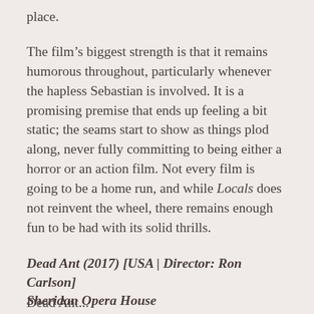place.
The film’s biggest strength is that it remains humorous throughout, particularly whenever the hapless Sebastian is involved. It is a promising premise that ends up feeling a bit static; the seams start to show as things plod along, never fully committing to being either a horror or an action film. Not every film is going to be a home run, and while Locals does not reinvent the wheel, there remains enough fun to be had with its solid thrills.
Dead Ant (2017) [USA | Director: Ron Carlson] Sheridan Opera House
Dead Ant...